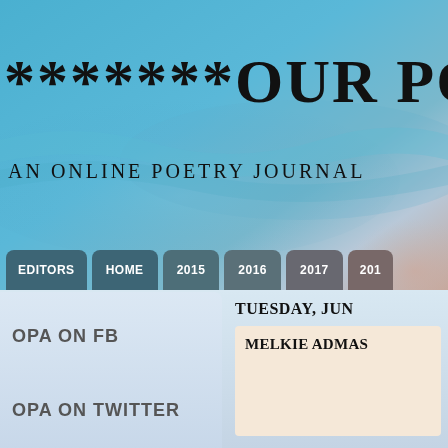[Figure (illustration): Blue water/sky gradient background header image for a poetry journal website]
*******OUR PO...
AN ONLINE POETRY JOURNAL
EDITORS | HOME | 2015 | 2016 | 2017 | 201...
OPA ON FB
TUESDAY, JUN...
MELKIE ADMAS...
OPA ON TWITTER